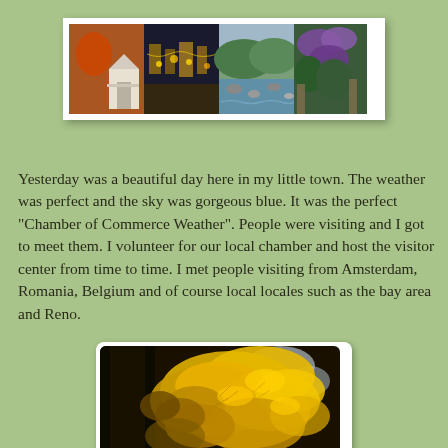[Figure (photo): Panoramic banner with four photos of a small town: a Victorian-style building with gazebo in autumn, a night scene of lit buildings along a street, a river with rocky banks surrounded by hills, and a floral-covered structure.]
Yesterday was a beautiful day here in my little town. The weather was perfect and the sky was gorgeous blue. It was the perfect "Chamber of Commerce Weather". People were visiting and I got to meet them. I volunteer for our local chamber and host the visitor center from time to time. I met people visiting from Amsterdam, Romania, Belgium and of course local locales such as the bay area and Reno.
[Figure (photo): Photo of bright golden-yellow autumn maple leaves viewed from below against a dark background and patches of sky, with a hint of a building structure at the bottom.]